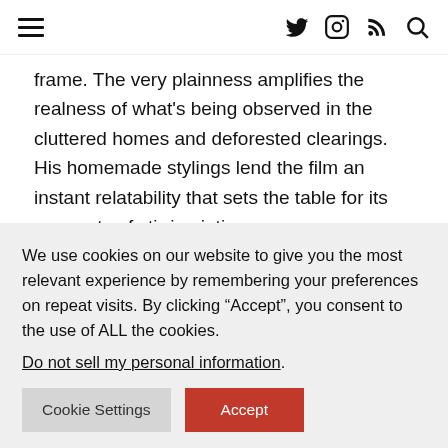[hamburger menu] [twitter] [instagram] [rss] [search]
frame. The very plainness amplifies the realness of what's being observed in the cluttered homes and deforested clearings. His homemade stylings lend the film an instant relatability that sets the table for its moments of stirring intimacy.
Cane Fire presents the power imbalances involving labor as this story's original sin. Banua-Simon takes pains to show how even as the island's dominant institutions have
We use cookies on our website to give you the most relevant experience by remembering your preferences on repeat visits. By clicking “Accept”, you consent to the use of ALL the cookies.
Do not sell my personal information.